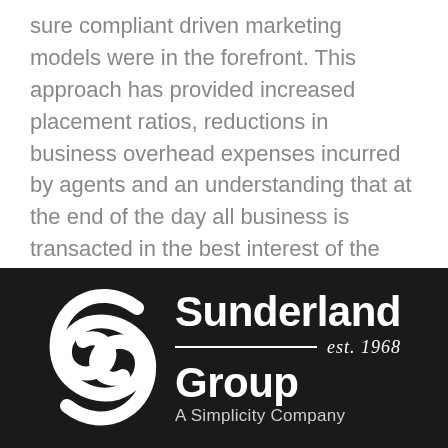sure compliant driven marketing models were in the forefront. This approach has provided increased placement ratios, reductions in business overhead expenses incurred by agents and an understanding that at the end of the day all business is transacted in the best interest of the client.
[Figure (logo): Sunderland Group logo on dark background — stylized white S swoosh icon on the left, with 'Sunderland' in bold white text, a horizontal white rule with 'est. 1968' in italic, 'Group' in bold white text below, and 'A Simplicity Company' in lighter text beneath.]